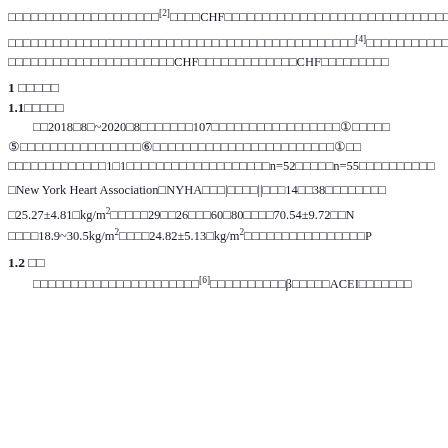□□□□□□□□□□□□□□□□□□□[2]□□□□CHF□□□□□□□□□□□□□□□□□□□□□□□□□□□□□□□□
□□□□□□□□□□□□□□□□□□□□□□□□□□□□□□□□□□□□□□□□□□□□□□[4]□□□□□□□□□□□□□□□□□□□□□□□□□□□□□□□□CHF□□□□□□□□□□□□□CHF□□□□□□□□□
1 □□□□□
1.1□□□□□
□□2018□8□~2020□8□□□□□□□107□□□□□□□□□□□□□□□□□①□□□□□⑤□□□□□□□□□□□□□□□□⑥□□□□□□□□□□□□□□□□□□□□□□□□①□□□□□□□□□□□□□□□□1□1□□□□□□□□□□□□□□□□□□□n=52□□□□□n=55□□□□□□□□□□
□New York Heart Association□NYHA□□□|□□□□||□□□14□□38□□□□□□□□
□25.27±4.81□kg/m²□□□□□29□□26□□□60□80□□□□70.54±9.72□□□N□□□□18.9~30.5kg/m²□□□□24.82±5.13□kg/m²□□□□□□□□□□□□□□□□□P
1.2 □□
□□□□□□□□□□□□□□□□□□□□□□[6]□□□□□□□□□□β□□□□□ACEI□□□□□□□